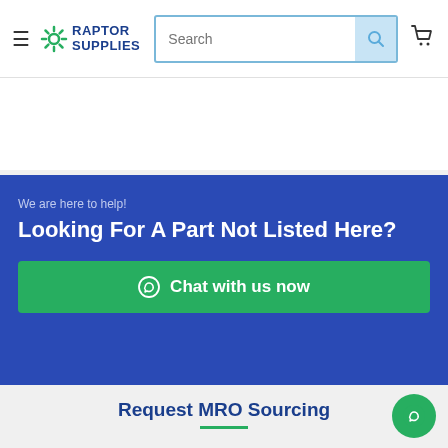[Figure (screenshot): Raptor Supplies website header with hamburger menu, logo, search bar, and cart icon]
We are here to help!
Looking For A Part Not Listed Here?
Chat with us now
Request MRO Sourcing